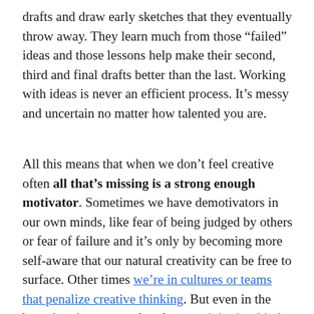drafts and draw early sketches that they eventually throw away. They learn much from those “failed” ideas and those lessons help make their second, third and final drafts better than the last. Working with ideas is never an efficient process. It’s messy and uncertain no matter how talented you are.
All this means that when we don’t feel creative often all that’s missing is a strong enough motivator. Sometimes we have demotivators in our own minds, like fear of being judged by others or fear of failure and it’s only by becoming more self-aware that our natural creativity can be free to surface. Other times we’re in cultures or teams that penalize creative thinking. But even in the best situations remember that creativity is a kind of work. You have to burn extra calories. And